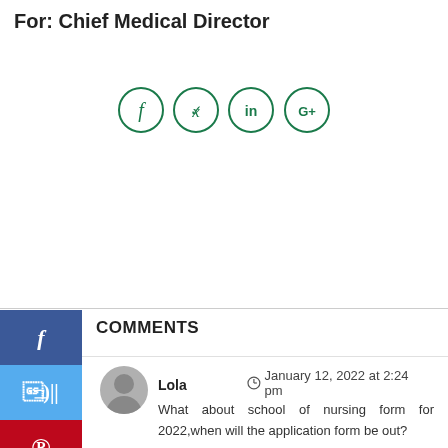For: Chief Medical Director
[Figure (infographic): Social share buttons row: Facebook, Twitter, LinkedIn, Google+ — circular bordered icons in dark green]
[Figure (infographic): Left sidebar with four social media share buttons: Facebook (dark blue), Twitter (light blue), Pinterest (red), LinkedIn (blue)]
COMMENTS
Lola   January 12, 2022 at 2:24 pm
What about school of nursing form for 2022,when will the application form be out?
Reply